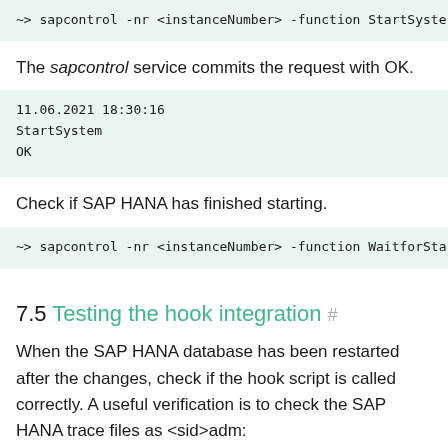-> sapcontrol -nr <instanceNumber> -function StartSystem
The sapcontrol service commits the request with OK.
11.06.2021 18:30:16
StartSystem
OK
Check if SAP HANA has finished starting.
-> sapcontrol -nr <instanceNumber> -function WaitforSta
7.5 Testing the hook integration #
When the SAP HANA database has been restarted after the changes, check if the hook script is called correctly. A useful verification is to check the SAP HANA trace files as <sid>adm: